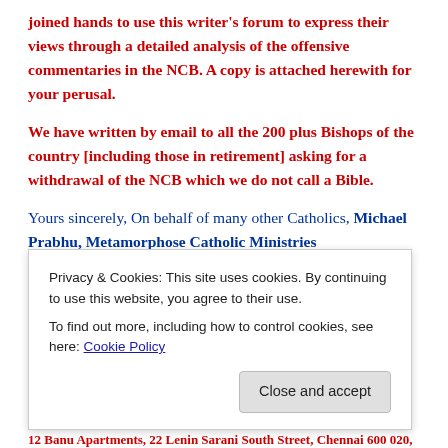joined hands to use this writer's forum to express their views through a detailed analysis of the offensive commentaries in the NCB. A copy is attached herewith for your perusal.
We have written by email to all the 200 plus Bishops of the country [including those in retirement] asking for a withdrawal of the NCB which we do not call a Bible.
Yours sincerely, On behalf of many other Catholics, Michael Prabhu, Metamorphose Catholic Ministries
website:
[url partially visible]
12 Banu Apartments, 22 Lenin Sarani South Street, Chennai 600 020,